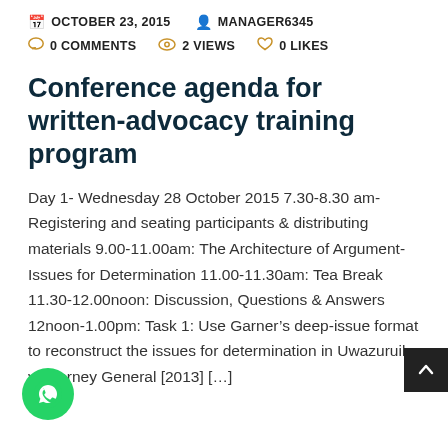OCTOBER 23, 2015   MANAGER6345
0 COMMENTS   2 VIEWS   0 LIKES
Conference agenda for written-advocacy training program
Day 1- Wednesday 28 October 2015 7.30-8.30 am- Registering and seating participants & distributing materials 9.00-11.00am: The Architecture of Argument-Issues for Determination 11.00-11.30am: Tea Break 11.30-12.00noon: Discussion, Questions & Answers 12noon-1.00pm: Task 1: Use Garner’s deep-issue format to reconstruct the issues for determination in Uwazuruike v Attorney General [2013] [...]